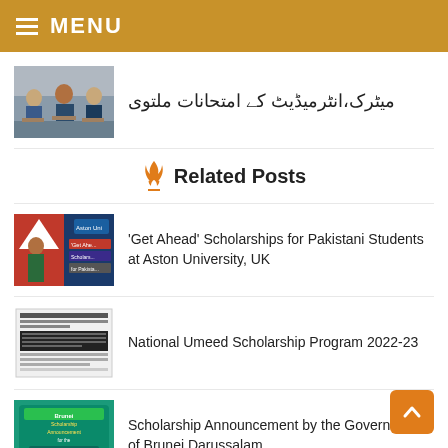MENU
میٹرک،انٹرمیڈیٹ کے امتحانات ملتوی
Related Posts
'Get Ahead' Scholarships for Pakistani Students at Aston University, UK
National Umeed Scholarship Program 2022-23
Scholarship Announcement by the Government of Brunei Darussalam